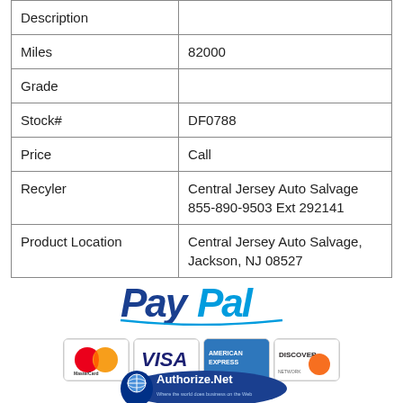| Description |  |
| --- | --- |
| Miles | 82000 |
| Grade |  |
| Stock# | DF0788 |
| Price | Call |
| Recyler | Central Jersey Auto Salvage
855-890-9503 Ext 292141 |
| Product Location | Central Jersey Auto Salvage,
Jackson, NJ 08527 |
[Figure (logo): PayPal logo]
[Figure (logo): Payment card logos: MasterCard, VISA, American Express, Discover]
[Figure (logo): Authorize.Net logo - Where the world does business on the Web]